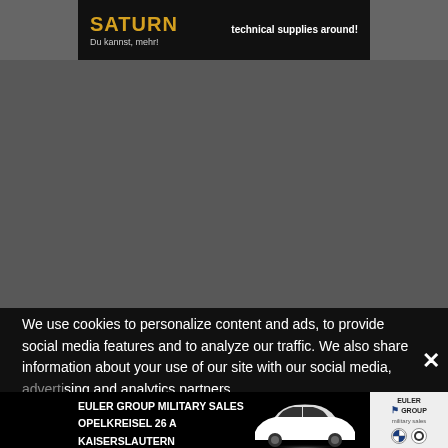[Figure (screenshot): Top banner advertisement with dark background showing logo text 'SATURN Du kannst, mehr!' on left and 'technical supplies around!' on right in white bold text]
[Figure (photo): Gray background area representing blurred/hidden webpage content]
We use cookies to personalize content and ads, to provide social media features and to analyze our traffic. We also share information about your use of our site with our social media, advertising and analytics partners who may combine it with other information that you have provided to them or that they have collected from your use of their services.
[Figure (advertisement): Euler Group Military Sales advertisement overlay showing: EULER GROUP MILITARY SALES, OPELKREISEL 26 A, KAISERSLAUTERN text in white bold, with a white BMW car silhouette and Euler Group logo with BMW and Mini brand marks on right side]